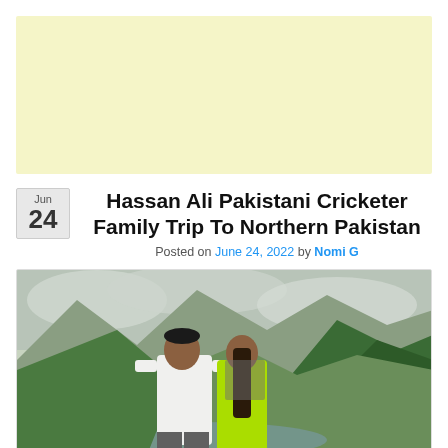[Figure (other): Yellow/beige advertisement banner placeholder at top of page]
Hassan Ali Pakistani Cricketer Family Trip To Northern Pakistan
Posted on June 24, 2022 by Nomi G
[Figure (photo): A couple (man in white long-sleeve shirt, woman in neon green outfit) standing in front of scenic Northern Pakistan mountain landscape with green forested hills and cloudy sky]